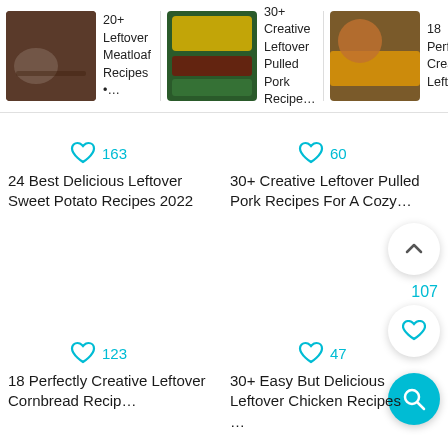[Figure (screenshot): Top navigation bar with three recipe cards: '20+ Leftover Meatloaf Recipes •…', '30+ Creative Leftover Pulled Pork Recipe…', '18 Perfectly Creative Leftover…']
163
24 Best Delicious Leftover Sweet Potato Recipes 2022
60
30+ Creative Leftover Pulled Pork Recipes For A Cozy…
107
123
18 Perfectly Creative Leftover Cornbread Recip…
47
30+ Easy But Delicious Leftover Chicken Recipes …